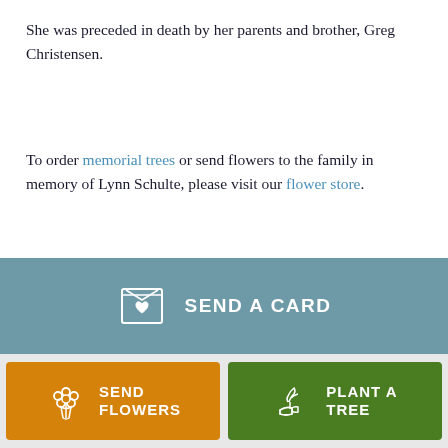She was preceded in death by her parents and brother, Greg Christensen.
To order memorial trees or send flowers to the family in memory of Lynn Schulte, please visit our flower store.
[Figure (infographic): Send a Card button with greeting card icon featuring a heart]
[Figure (infographic): Send Flowers button with flower bouquet icon and Plant a Tree button with seedling/hand icon]